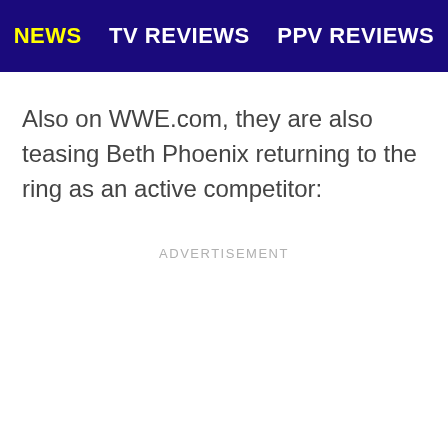NEWS   TV REVIEWS   PPV REVIEWS
Also on WWE.com, they are also teasing Beth Phoenix returning to the ring as an active competitor:
ADVERTISEMENT